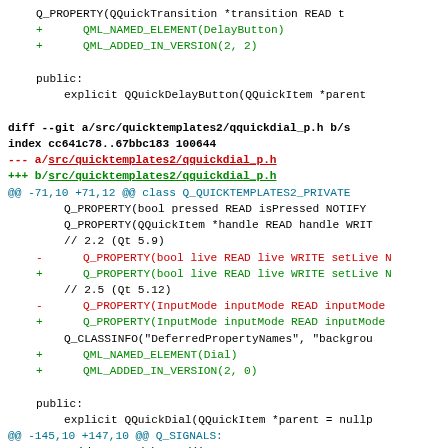[Figure (screenshot): Code diff view showing changes to Qt Quick Templates 2 source files qquickdelaybutton and qquickdial_p.h, with added lines in green, removed lines in red, context lines in black, and diff headers in blue/cyan.]